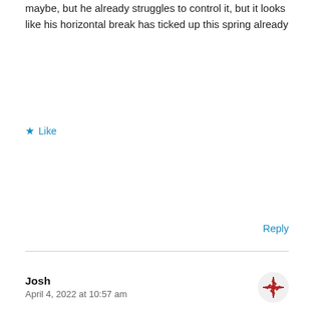maybe, but he already struggles to control it, but it looks like his horizontal break has ticked up this spring already
Like
Reply
Josh
April 4, 2022 at 10:57 am
Great read. Did you read Alex Stumpf's mound visit today about the Pirates asking him to use the four seam and sinker differently based on the batter's handedness?
Liked by 1 person
Reply